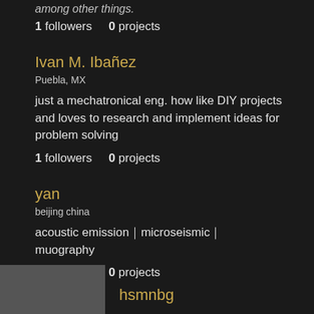among other things.
1 followers    0 projects
Ivan M. Ibañez
Puebla, MX
just a mechatronical eng. how like DIY projects and loves to research and implement ideas for problem solving
1 followers    0 projects
yan
beijing china
acoustic emission｜microseismic｜muography
1 followers    0 projects
hsmnbg